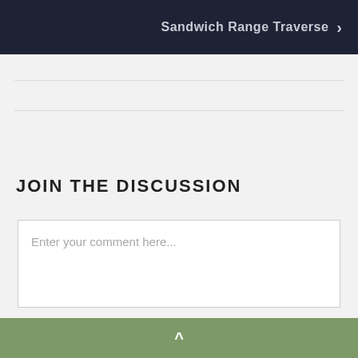[Figure (screenshot): Dark navy navigation bar with text 'Sandwich Range Traverse' and a right-pointing chevron arrow on the right side]
JOIN THE DISCUSSION
Enter your comment here...
^